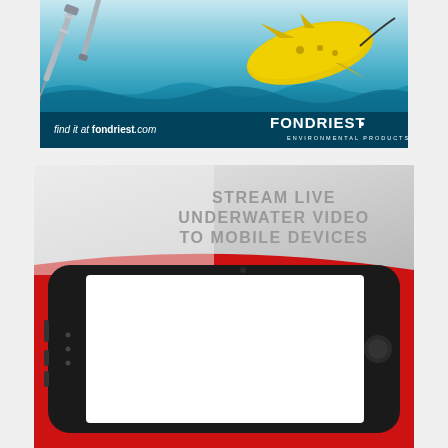[Figure (photo): Fondriest Environmental Products advertisement showing water quality probes/sensors and an underwater drone/glider above water surface with the text 'find it at fondriest.com' and the Fondriest Environmental Products logo]
[Figure (infographic): Advertisement with text 'STREAM LIVE UNDERWATER VIDEO TO MOBILE DEVICES' on a grey/white background, with a red curved background and a large black smartphone (iPhone style) displayed horizontally showing a white screen]